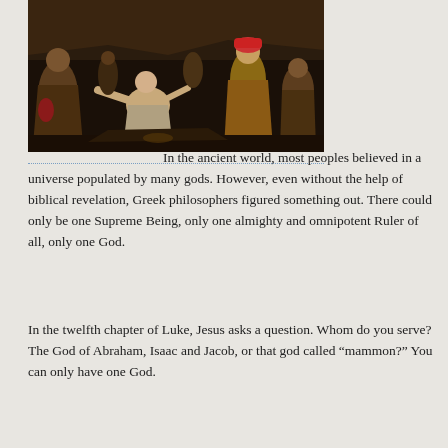[Figure (photo): Classical painting depicting a group of figures in ancient dress gathered around a scene; one central figure appears to be kneeling or prostrating, surrounded by onlookers in robes and turbans, with rocky terrain in the background.]
In the ancient world, most peoples believed in a universe populated by many gods. However, even without the help of biblical revelation, Greek philosophers figured something out. There could only be one Supreme Being, only one almighty and omnipotent Ruler of all, only one God.
In the twelfth chapter of Luke, Jesus asks a question. Whom do you serve? The God of Abraham, Isaac and Jacob, or that god called “mammon?” You can only have one God.